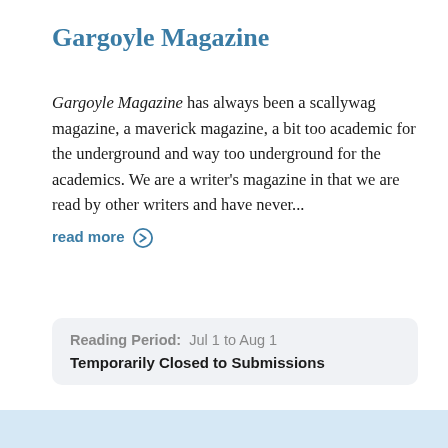Gargoyle Magazine
Gargoyle Magazine has always been a scallywag magazine, a maverick magazine, a bit too academic for the underground and way too underground for the academics. We are a writer's magazine in that we are read by other writers and have never...
read more →
Reading Period: Jul 1 to Aug 1
Temporarily Closed to Submissions
Genre: Poetry, Fiction, Creative Nonfiction